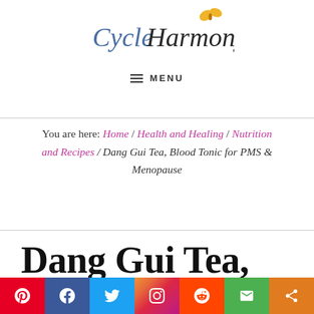Cycle Harmony — MENU
You are here: Home / Health and Healing / Nutrition and Recipes / Dang Gui Tea, Blood Tonic for PMS & Menopause
Dang Gui Tea, Blood Tonic for PMS &